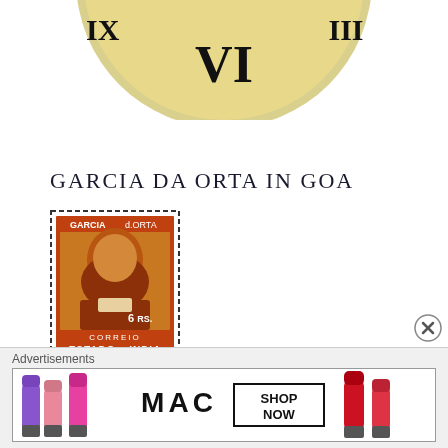[Figure (illustration): Top portion of a decorative clock face with gold/cream background showing Roman numeral VI at the bottom center, with clock hands visible, partially cropped at the top of the page.]
GARCIA DA ORTA IN GOA
[Figure (photo): A postage stamp from Estado da India (Portuguese India) showing a portrait of Garcia da Orta, a bearded man with white/grey hair wearing historical clothing. The stamp is brown/red in color, denominated 6 Rs., with perforated edges. Text on stamp: GARCIA, d.ORTA, 6 RS., CORREIO, ESTADO da INDIA.]
Advertisements
[Figure (photo): Advertisement banner for MAC cosmetics showing colorful lipsticks (purple, pink, red) on left and right sides with MAC logo in center and a box reading SHOP NOW.]